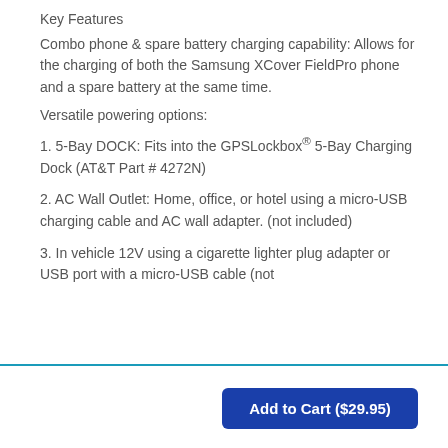Key Features
Combo phone & spare battery charging capability: Allows for the charging of both the Samsung XCover FieldPro phone and a spare battery at the same time.
Versatile powering options:
1. 5-Bay DOCK: Fits into the GPSLockbox® 5-Bay Charging Dock (AT&T Part # 4272N)
2. AC Wall Outlet: Home, office, or hotel using a micro-USB charging cable and AC wall adapter. (not included)
3. In vehicle 12V using a cigarette lighter plug adapter or USB port with a micro-USB cable (not
Add to Cart ($29.95)